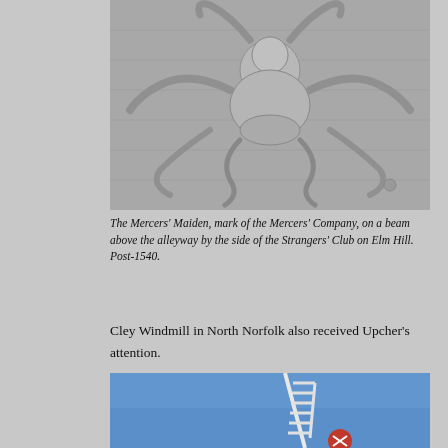[Figure (photo): Black and white stone relief carving showing the Mercers' Maiden figure, mark of the Mercers' Company, on a beam above the alleyway by the side of the Strangers' Club on Elm Hill. Post-1540.]
The Mercers' Maiden, mark of the Mercers' Company, on a beam above the alleyway by the side of the Strangers' Club on Elm Hill. Post-1540.
Cley Windmill in North Norfolk also received Upcher's attention.
[Figure (photo): Colour photograph of Cley Windmill in North Norfolk, showing the top of the windmill structure with sail/blade against a blue sky.]